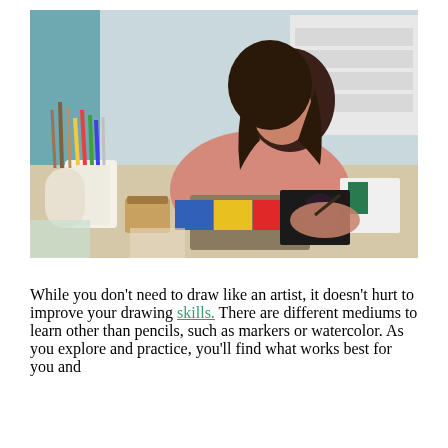[Figure (photo): A young woman with dark hair sitting at a cluttered art desk, drawing or painting on a flat surface. The desk is filled with pencils, brushes, paint supplies, and colorful art materials. A blue, yellow, and red color palette box is visible on the desk.]
While you don't need to draw like an artist, it doesn't hurt to improve your drawing skills. There are different mediums to learn other than pencils, such as markers or watercolor. As you explore and practice, you'll find what works best for you and